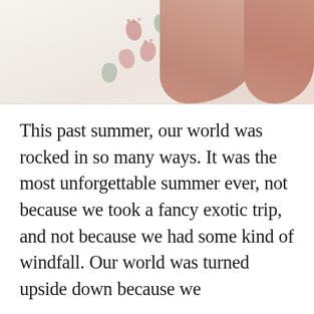[Figure (photo): Close-up photo of hands holding a baby wrapped in a white muslin swaddle cloth printed with colorful footprint stamps in red/pink and green/grey colors.]
This past summer, our world was rocked in so many ways. It was the most unforgettable summer ever, not because we took a fancy exotic trip, and not because we had some kind of windfall. Our world was turned upside down because we